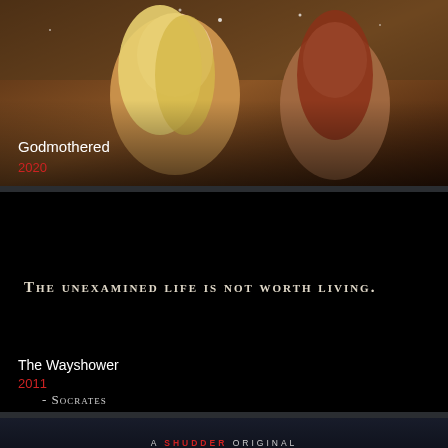[Figure (photo): Movie poster for Godmothered (2020): two women looking upward outdoors at night, warm amber lighting, one blonde holding a sparkler]
Godmothered
2020
[Figure (photo): Movie poster for The Wayshower (2011): black background with white text quote 'The unexamined life is not worth living.' attributed to Socrates]
The Wayshower
2011
- Socrates
[Figure (photo): Movie poster for Stay Out (Shudder Original): dark background with 'A SHUDDER ORIGINAL' text and partial 'STAY OUT' title in golden ornate lettering]